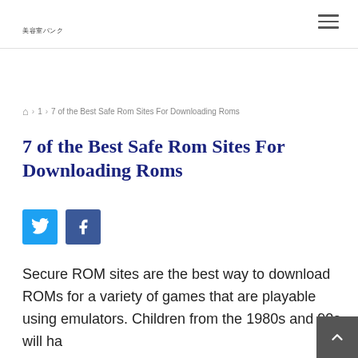美容室バンク
🏠 › 1 › 7 of the Best Safe Rom Sites For Downloading Roms
7 of the Best Safe Rom Sites For Downloading Roms
[Figure (other): Social share buttons: Twitter (blue) and Facebook (dark blue)]
Secure ROM sites are the best way to download ROMs for a variety of games that are playable using emulators. Children from the 1980s and 90s will ha